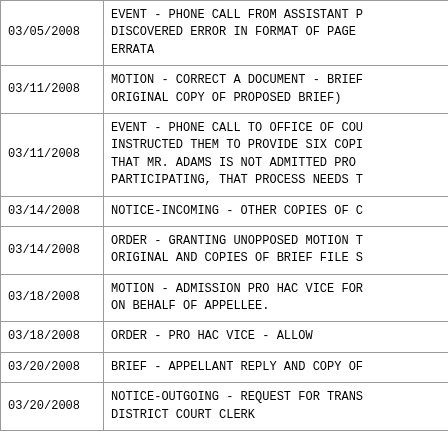| Date | Description |
| --- | --- |
| 03/05/2008 | EVENT - PHONE CALL FROM ASSISTANT P... DISCOVERED ERROR IN FORMAT OF PAGE... ERRATA |
| 03/11/2008 | MOTION - CORRECT A DOCUMENT - BRIEF... ORIGINAL COPY OF PROPOSED BRIEF) |
| 03/11/2008 | EVENT - PHONE CALL TO OFFICE OF COU... INSTRUCTED THEM TO PROVIDE SIX COPI... THAT MR. ADAMS IS NOT ADMITTED PRO ... PARTICIPATING, THAT PROCESS NEEDS T |
| 03/14/2008 | NOTICE-INCOMING - OTHER COPIES OF C |
| 03/14/2008 | ORDER - GRANTING UNOPPOSED MOTION T... ORIGINAL AND COPIES OF BRIEF FILE S |
| 03/18/2008 | MOTION - ADMISSION PRO HAC VICE FOR... ON BEHALF OF APPELLEE. |
| 03/18/2008 | ORDER - PRO HAC VICE - ALLOW |
| 03/20/2008 | BRIEF - APPELLANT REPLY AND COPY OF |
| 03/20/2008 | NOTICE-OUTGOING - REQUEST FOR TRANS... DISTRICT COURT CLERK |